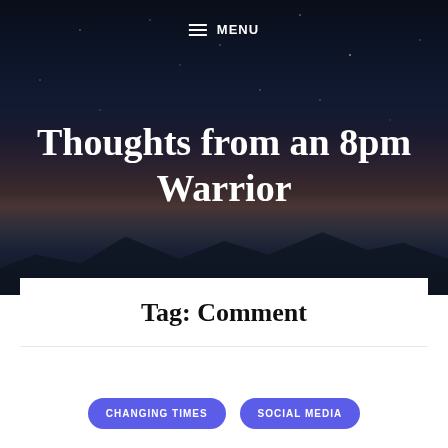≡ MENU
Thoughts from an 8pm Warrior
Tag: Comment
CHANGING TIMES
SOCIAL MEDIA